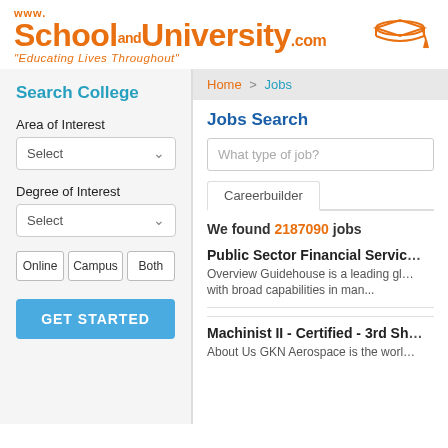[Figure (logo): SchoolandUniversity.com logo with graduation cap illustration and tagline 'Educating Lives Throughout']
Search College
Area of Interest
Select (dropdown)
Degree of Interest
Select (dropdown)
Online | Campus | Both
GET STARTED
Home > Jobs
Jobs Search
What type of job?
Careerbuilder
We found 2187090 jobs
Public Sector Financial Servic…
Overview Guidehouse is a leading gl… with broad capabilities in man…
Machinist II - Certified - 3rd Sh…
About Us GKN Aerospace is the worl…